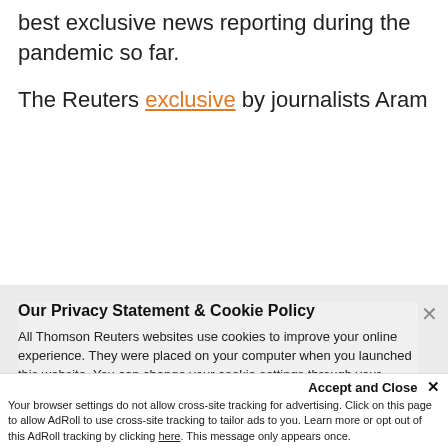best exclusive news reporting during the pandemic so far.
The Reuters exclusive by journalists Aram
Our Privacy Statement & Cookie Policy
All Thomson Reuters websites use cookies to improve your online experience. They were placed on your computer when you launched this website. You can change your cookie settings through your browser.
Privacy Statement   Cookie Policy
Ok to continue
Accept and Close ×
Your browser settings do not allow cross-site tracking for advertising. Click on this page to allow AdRoll to use cross-site tracking to tailor ads to you. Learn more or opt out of this AdRoll tracking by clicking here. This message only appears once.